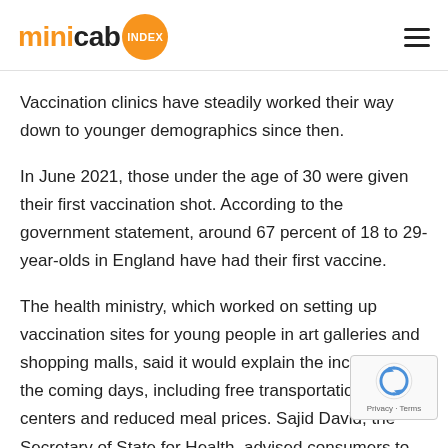minicab INDEX
Vaccination clinics have steadily worked their way down to younger demographics since then.
In June 2021, those under the age of 30 were given their first vaccination shot. According to the government statement, around 67 percent of 18 to 29-year-olds in England have had their first vaccine.
The health ministry, which worked on setting up vaccination sites for young people in art galleries and shopping malls, said it would explain the incentives in the coming days, including free transportation to vacci centers and reduced meal prices. Sajid David, the Secretary of State for Health, advised consumers to "take